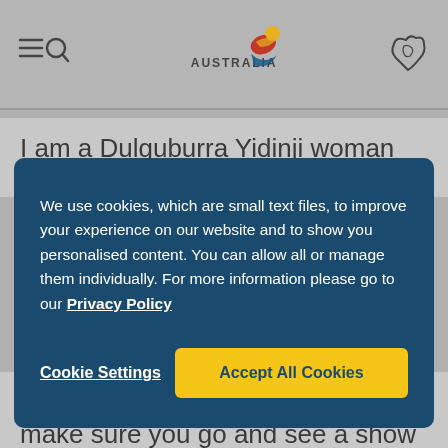Australia tourism website header with navigation menu/search icon, Australia logo, and map icon
I am a Dulguburra Yidinji woman from Far North
We use cookies, which are small text files, to improve your experience on our website and to show you personalised content. You can allow all or manage them individually. For more information please go to our Privacy Policy
Cookie Settings
Accept All Cookies
When you're visiting Australia, make sure you go and see a show at the Palais; it's grandiose and stunning